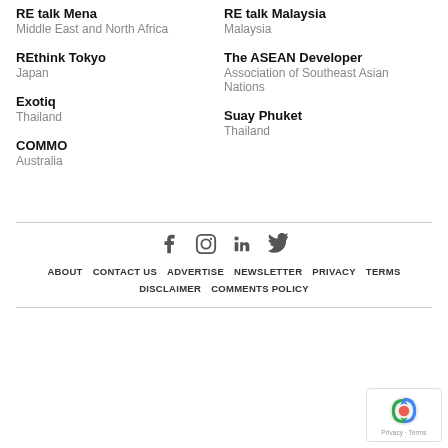RE talk Mena
Middle East and North Africa
RE talk Malaysia
Malaysia
REthink Tokyo
Japan
The ASEAN Developer
Association of Southeast Asian Nations
Exotiq
Thailand
Suay Phuket
Thailand
COMMO
Australia
[Figure (infographic): Social media icons: Facebook, Instagram, LinkedIn, Twitter]
ABOUT  CONTACT US  ADVERTISE  NEWSLETTER  PRIVACY  TERMS  DISCLAIMER  COMMENTS POLICY